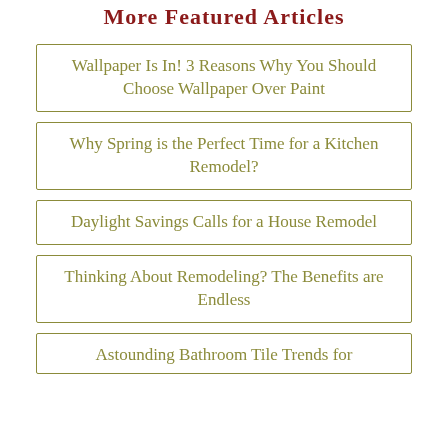More Featured Articles
Wallpaper Is In! 3 Reasons Why You Should Choose Wallpaper Over Paint
Why Spring is the Perfect Time for a Kitchen Remodel?
Daylight Savings Calls for a House Remodel
Thinking About Remodeling? The Benefits are Endless
Astounding Bathroom Tile Trends for…